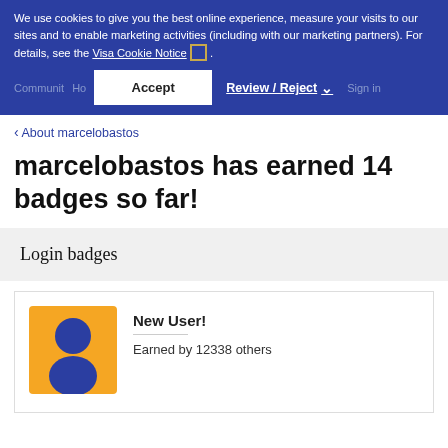We use cookies to give you the best online experience, measure your visits to our sites and to enable marketing activities (including with our marketing partners). For details, see the Visa Cookie Notice.
Accept | Review / Reject
About marcelobastos
marcelobastos has earned 14 badges so far!
Login badges
New User!
Earned by 12338 others